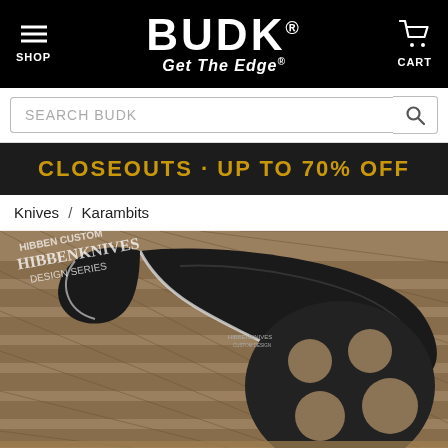BUDK Get The Edge - SHOP / CART header with search bar
CLOSEOUTS · UP TO 70% OFF
Knives / Karambits
[Figure (photo): Close-up photo of a Hibben Custom Design Series karambit knife with black blade and circular handle cutouts, resting on tan/coyote MOLLE tactical webbing background. Hibben Knives Design Series logo stamp visible in upper left.]